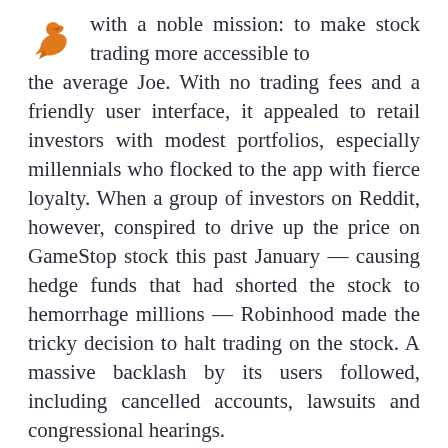[Figure (illustration): Orange bird/arrow icon pointing upward, resembling the Robinhood app logo]
with a noble mission: to make stock trading more accessible to the average Joe. With no trading fees and a friendly user interface, it appealed to retail investors with modest portfolios, especially millennials who flocked to the app with fierce loyalty. When a group of investors on Reddit, however, conspired to drive up the price on GameStop stock this past January — causing hedge funds that had shorted the stock to hemorrhage millions — Robinhood made the tricky decision to halt trading on the stock. A massive backlash by its users followed, including cancelled accounts, lawsuits and congressional hearings.